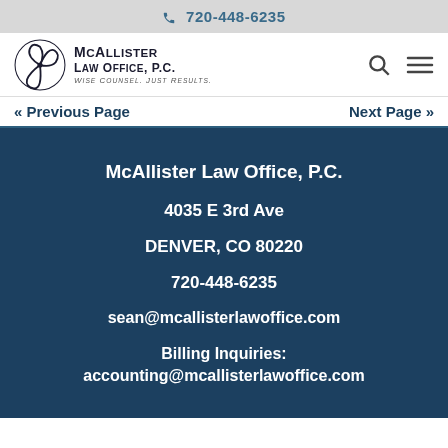720-448-6235
[Figure (logo): McAllister Law Office, P.C. logo with triskelion symbol and tagline Wise Counsel. Just Results.]
« Previous Page   Next Page »
McAllister Law Office, P.C.
4035 E 3rd Ave
DENVER, CO 80220
720-448-6235
sean@mcallisterlawoffice.com
Billing Inquiries:
accounting@mcallisterlawoffice.com